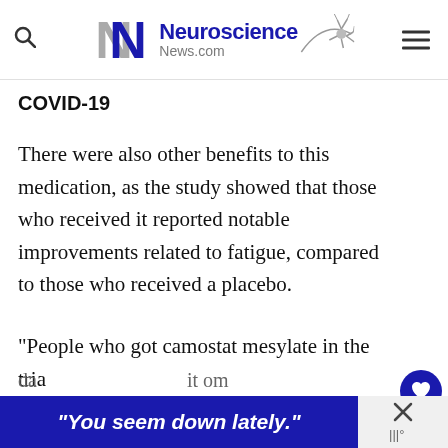[Figure (logo): Neuroscience News.com logo with stylized NN letters and neuron graphic]
COVID-19
There were also other benefits to this medication, as the study showed that those who received it reported notable improvements related to fatigue, compared to those who received a placebo.
“People who got camostat mesylate in the trial started feeling less tired and better overall after
[Figure (screenshot): Ad banner at bottom reading: “You seem down lately.” on dark blue background with close button]